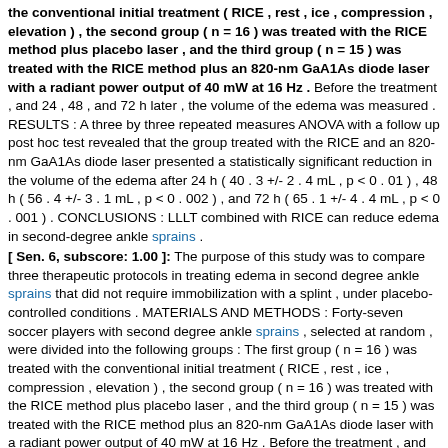the conventional initial treatment ( RICE , rest , ice , compression , elevation ) , the second group ( n = 16 ) was treated with the RICE method plus placebo laser , and the third group ( n = 15 ) was treated with the RICE method plus an 820-nm GaA1As diode laser with a radiant power output of 40 mW at 16 Hz . Before the treatment , and 24 , 48 , and 72 h later , the volume of the edema was measured . RESULTS : A three by three repeated measures ANOVA with a follow up post hoc test revealed that the group treated with the RICE and an 820-nm GaA1As diode laser presented a statistically significant reduction in the volume of the edema after 24 h ( 40 . 3 +/- 2 . 4 mL , p < 0 . 01 ) , 48 h ( 56 . 4 +/- 3 . 1 mL , p < 0 . 002 ) , and 72 h ( 65 . 1 +/- 4 . 4 mL , p < 0 . 001 ) . CONCLUSIONS : LLLT combined with RICE can reduce edema in second-degree ankle sprains .
[ Sen. 6, subscore: 1.00 ]: The purpose of this study was to compare three therapeutic protocols in treating edema in second degree ankle sprains that did not require immobilization with a splint , under placebo-controlled conditions . MATERIALS AND METHODS : Forty-seven soccer players with second degree ankle sprains , selected at random , were divided into the following groups : The first group ( n = 16 ) was treated with the conventional initial treatment ( RICE , rest , ice , compression , elevation ) , the second group ( n = 16 ) was treated with the RICE method plus placebo laser , and the third group ( n = 15 ) was treated with the RICE method plus an 820-nm GaA1As diode laser with a radiant power output of 40 mW at 16 Hz . Before the treatment , and 24 , 48 , and 72 h later , the volume of the edema was measured . RESULTS : A three by three repeated measures ANOVA with a follow up post hoc test revealed that the group treated with the RICE and an 820-nm GaA1As diode laser presented a statistically significant reduction in the volume of the edema after 24 h ( 40 . 3 +/- 2 . 4 mL , p < 0 . 01 ) , 48 h ( 56 . 4 +/- 3 . 1 mL , p < 0 . 002 ) , and 72 h ( 65 . 1 +/- 4 . 4 mL , p < 0